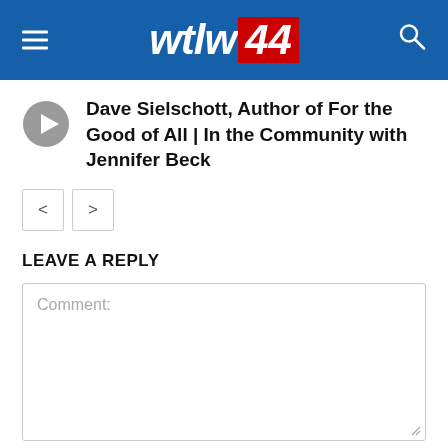wtlw 44
Dave Sielschott, Author of For the Good of All | In the Community with Jennifer Beck
[Figure (other): Previous and next pagination buttons (< and >)]
LEAVE A REPLY
Comment: